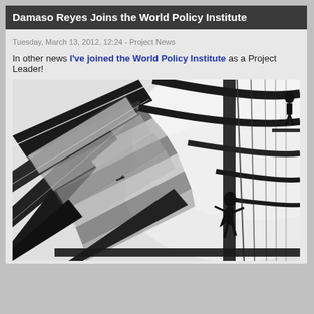Damaso Reyes Joins the World Policy Institute
Tuesday, March 13, 2012, 12:24 - Project News
In other news I've joined the World Policy Institute as a Project Leader!
[Figure (photo): Black and white architectural photograph shot from below looking up through a glass and steel structure. People are visible as silhouettes on upper walkways/stairs. A figure is visible in the middle of the frame walking along a beam or railing.]